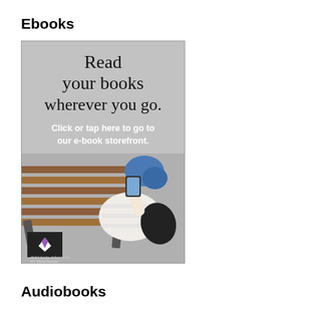Ebooks
[Figure (illustration): Advertisement image showing a person lying on a wooden bench reading on a smartphone, with text overlay: 'Read your books wherever you go. Click or tap here to go to our e-book storefront.' A My Must Reads logo appears at the bottom left.]
Audiobooks